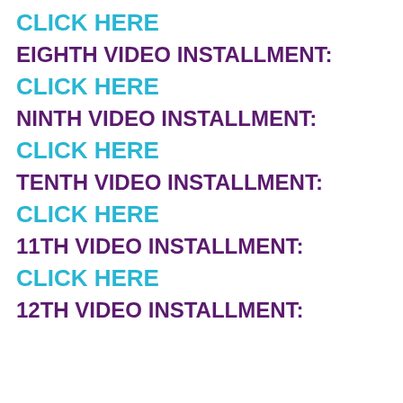CLICK HERE
EIGHTH VIDEO INSTALLMENT:
CLICK HERE
NINTH VIDEO INSTALLMENT:
CLICK HERE
TENTH VIDEO INSTALLMENT:
CLICK HERE
11TH VIDEO INSTALLMENT:
CLICK HERE
12TH VIDEO INSTALLMENT: